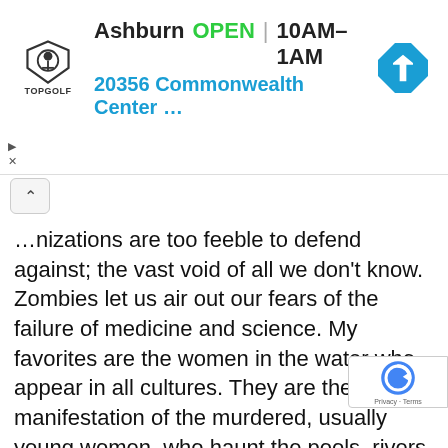[Figure (screenshot): Topgolf advertisement banner showing location 'Ashburn', status 'OPEN', hours '10AM–1AM', address '20356 Commonwealth Center …', with Topgolf logo and blue navigation arrow icon]
…nizations are too feeble to defend against; the vast void of all we don't know. Zombies let us air out our fears of the failure of medicine and science. My favorites are the women in the water who appear in all cultures. They are the manifestation of the murdered, usually young women, who haunt the pools, rivers or deep water where they met their end for not properly conforming to what was expected of them. I believe these stories persist because people know what they did was wrong, and it haunts them. The idea that these water sp… exist only to get revenge and lure men to their